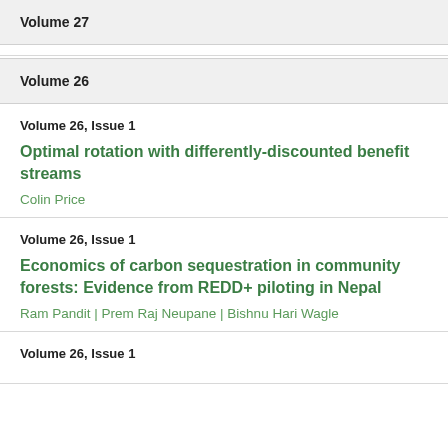Volume 27
Volume 26
Volume 26, Issue 1
Optimal rotation with differently-discounted benefit streams
Colin Price
Volume 26, Issue 1
Economics of carbon sequestration in community forests: Evidence from REDD+ piloting in Nepal
Ram Pandit | Prem Raj Neupane | Bishnu Hari Wagle
Volume 26, Issue 1